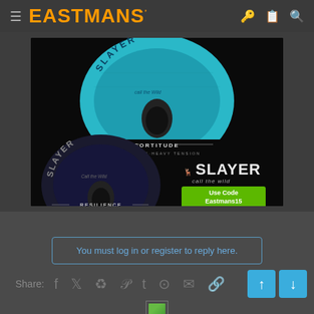EASTMANS'
[Figure (photo): Slayer Calls advertisement showing two mouth calls (FORTITUDE 100 Series Heavy Tension and RESILIENCE 100 Series Medium Tension) with Slayer logo, promo code 'Use Code Eastmans15' and website SLAYERCALLS.COM]
You must log in or register to reply here.
Share: